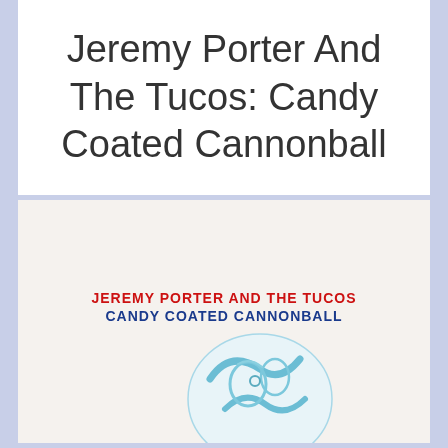Jeremy Porter And The Tucos: Candy Coated Cannonball
[Figure (illustration): Album cover for Jeremy Porter And The Tucos - Candy Coated Cannonball. Light beige/off-white background with red bold text 'JEREMY PORTER AND THE TUCOS' above blue bold text 'CANDY COATED CANNONBALL'. Below is a partially visible light blue illustrated skull or ball graphic.]